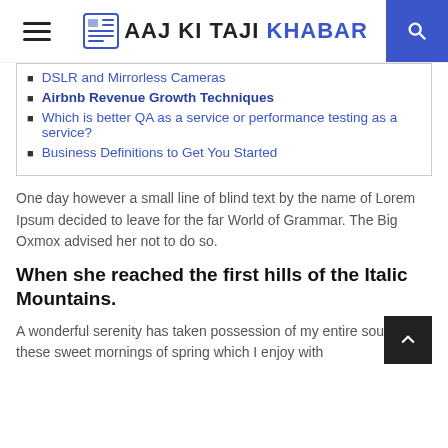AAJ KI TAJI KHABAR
DSLR and Mirrorless Cameras
Airbnb Revenue Growth Techniques
Which is better QA as a service or performance testing as a service?
Business Definitions to Get You Started
One day however a small line of blind text by the name of Lorem Ipsum decided to leave for the far World of Grammar. The Big Oxmox advised her not to do so.
When she reached the first hills of the Italic Mountains.
A wonderful serenity has taken possession of my entire soul, like these sweet mornings of spring which I enjoy with...